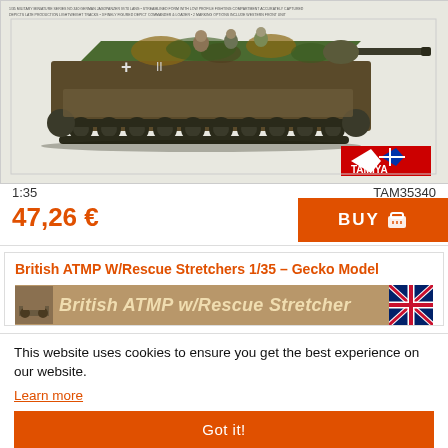[Figure (photo): Tamiya 1:35 scale model kit box art showing a German WWII tank destroyer (Jagdpanzer IV/70(V) Lang) with camouflage paint scheme and crew figures. Tamiya logo in lower right corner.]
1:35
TAM35340
47,26 €
BUY
British ATMP W/Rescue Stretchers 1/35 – Gecko Model
[Figure (photo): Gecko Model kit box art banner showing 'British ATMP w/Rescue Stretcher' text in bold italic on sandy/tan background with UK flag on right side.]
This website uses cookies to ensure you get the best experience on our website.
Learn more
Got it!